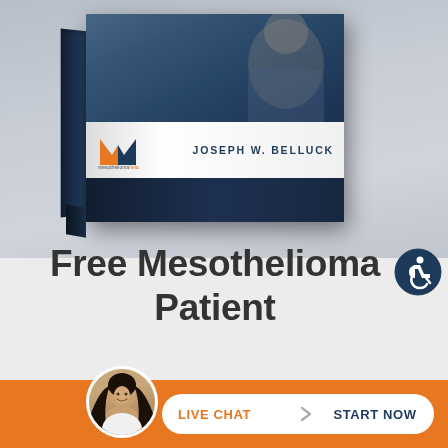[Figure (illustration): 3D book cover illustration for 'Free Mesothelioma Patient & Treatment Guide' by Joseph W. Belluck, with mesothelioma help logo on white band across the book front cover]
Free Mesothelioma Patient & Treatment Guide
[Figure (logo): Accessibility icon — person in wheelchair in a dark navy circle]
[Figure (photo): Live chat avatar: woman with dark hair smiling, circular photo in orange footer bar]
LIVE CHAT › START NOW